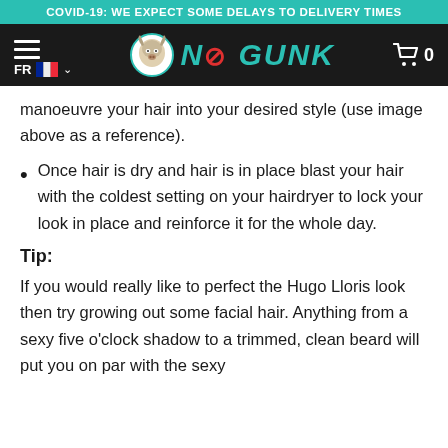COVID-19: WE EXPECT SOME DELAYS TO DELIVERY TIMES
[Figure (logo): No Gunk brand logo with hamburger menu, FR language selector with French flag, and shopping cart icon showing 0 items]
manoeuvre your hair into your desired style (use image above as a reference).
Once hair is dry and hair is in place blast your hair with the coldest setting on your hairdryer to lock your look in place and reinforce it for the whole day.
Tip:
If you would really like to perfect the Hugo Lloris look then try growing out some facial hair. Anything from a sexy five o'clock shadow to a trimmed, clean beard will put you on par with the sexy